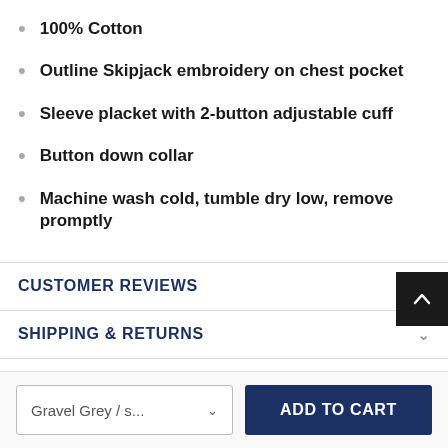100% Cotton
Outline Skipjack embroidery on chest pocket
Sleeve placket with 2-button adjustable cuff
Button down collar
Machine wash cold, tumble dry low, remove promptly
CUSTOMER REVIEWS
SHIPPING & RETURNS
Gravel Grey / s... ∨
ADD TO CART